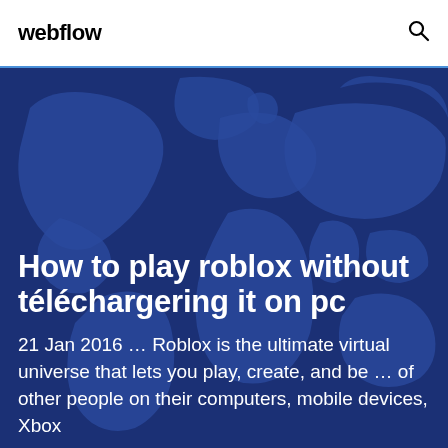webflow
[Figure (illustration): Dark blue world map background with continent silhouettes in slightly lighter blue, used as hero banner background]
How to play roblox without téléchargering it on pc
21 Jan 2016 … Roblox is the ultimate virtual universe that lets you play, create, and be … of other people on their computers, mobile devices, Xbox